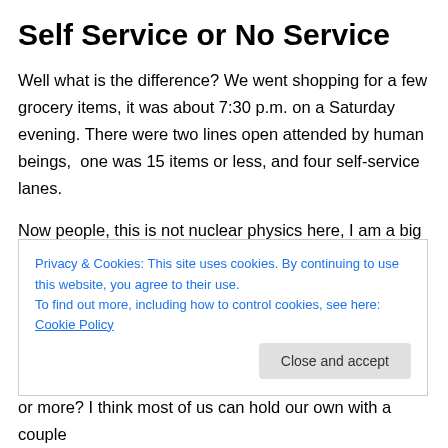Self Service or No Service
Well what is the difference? We went shopping for a few grocery items, it was about 7:30 p.m. on a Saturday evening. There were two lines open attended by human beings,  one was 15 items or less, and four self-service lanes.
Now people, this is not nuclear physics here, I am a big fan of getting in and out of a place. I utilize  the self-service machines as often as possible. They are generally efficient and lack attitude. However, I do believe the idea
Privacy & Cookies: This site uses cookies. By continuing to use this website, you agree to their use.
To find out more, including how to control cookies, see here: Cookie Policy
or more? I think most of us can hold our own with a couple